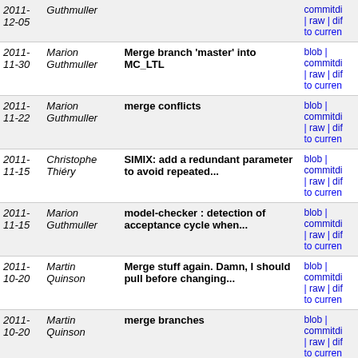| Date | Author | Message | Links |
| --- | --- | --- | --- |
| 2011-12-05 | Guthmuller |  | blob | commitdiff | raw | diff to current |
| 2011-11-30 | Marion Guthmuller | Merge branch 'master' into MC_LTL | blob | commitdiff | raw | diff to current |
| 2011-11-22 | Marion Guthmuller | merge conflicts | blob | commitdiff | raw | diff to current |
| 2011-11-15 | Christophe Thiéry | SIMIX: add a redundant parameter to avoid repeated... | blob | commitdiff | raw | diff to current |
| 2011-11-15 | Marion Guthmuller | model-checker : detection of acceptance cycle when... | blob | commitdiff | raw | diff to current |
| 2011-10-20 | Martin Quinson | Merge stuff again. Damn, I should pull before changing... | blob | commitdiff | raw | diff to current |
| 2011-10-20 | Martin Quinson | merge branches | blob | commitdiff | raw | diff to current |
| 2011-10-14 | Christophe Thiéry | Improve debug messages | blob | commitdiff | raw | diff to current |
| 2011-05-13 | Pierre-Nicolas Clauss | Merge back master branch. | blob | commitdiff | raw | diff to current |
| 2011-05-05 | Arnaud Giersch | Simplify the handling of SIMIX requests. | blob | commitdiff | raw | diff to current |
| 2011- | Lucas | Merge branch 'master' into master-svn | blob | commitdiff |